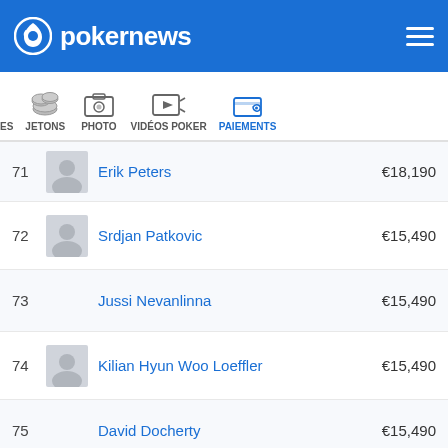pokernews
| Rank | Player | Prize |
| --- | --- | --- |
| 71 | Erik Peters | €18,190 |
| 72 | Srdjan Patkovic | €15,490 |
| 73 | Jussi Nevanlinna | €15,490 |
| 74 | Kilian Hyun Woo Loeffler | €15,490 |
| 75 | David Docherty | €15,490 |
| 76 | Dirk Gerritse | €15,490 |